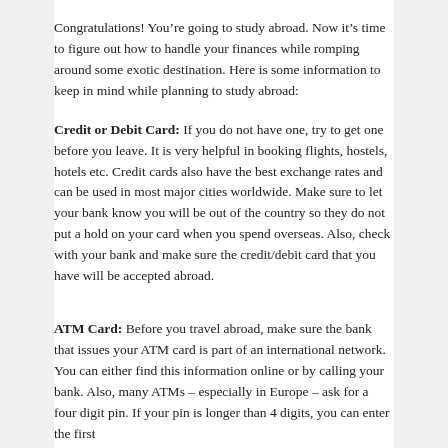Congratulations! You're going to study abroad. Now it's time to figure out how to handle your finances while romping around some exotic destination. Here is some information to keep in mind while planning to study abroad:
Credit or Debit Card: If you do not have one, try to get one before you leave. It is very helpful in booking flights, hostels, hotels etc. Credit cards also have the best exchange rates and can be used in most major cities worldwide. Make sure to let your bank know you will be out of the country so they do not put a hold on your card when you spend overseas. Also, check with your bank and make sure the credit/debit card that you have will be accepted abroad.
ATM Card: Before you travel abroad, make sure the bank that issues your ATM card is part of an international network. You can either find this information online or by calling your bank. Also, many ATMs – especially in Europe – ask for a four digit pin. If your pin is longer than 4 digits, you can enter the first